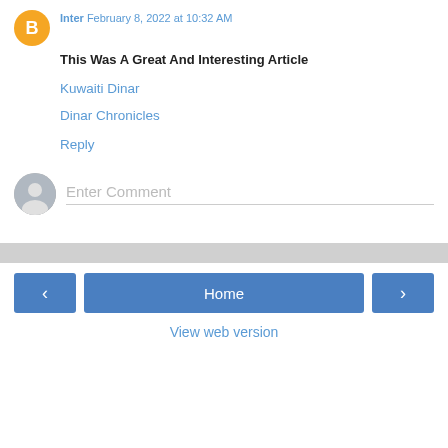Inter February 8, 2022 at 10:32 AM
This Was A Great And Interesting Article
Kuwaiti Dinar
Dinar Chronicles
Reply
Enter Comment
Home
View web version